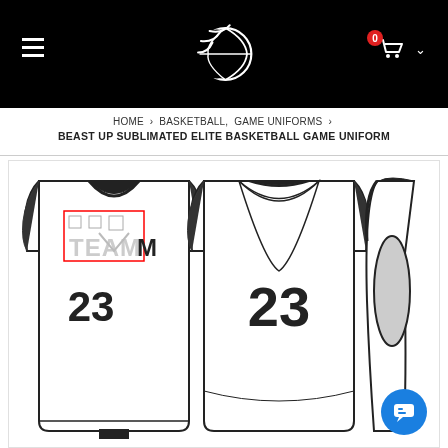[Figure (logo): Basketball website header with black background, basketball logo (crescent moon with basketball lines in white), hamburger menu icon on left, cart icon with '0' badge and dropdown chevron on right]
HOME > BASKETBALL, GAME UNIFORMS > BEAST UP SUBLIMATED ELITE BASKETBALL GAME UNIFORM
[Figure (photo): Three views of a white basketball jersey/uniform: front view showing TEAM and number 23, back view showing number 23, and side view. The jerseys have black trim and are shown as line art product illustrations.]